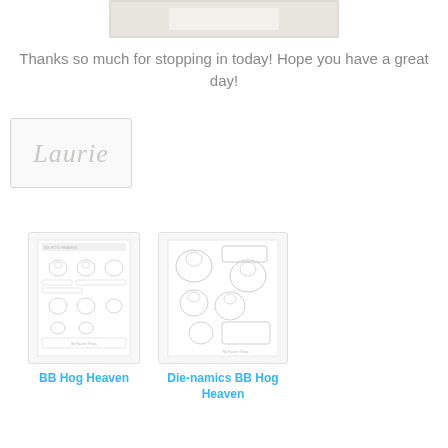[Figure (photo): Top portion of a greeting card photo, partially visible at top of page]
Thanks so much for stopping in today!  Hope you have a great day!
[Figure (photo): Handwritten cursive signature reading 'Laurie' on white card with gray border]
[Figure (photo): BB Hog Heaven stamp set product image showing pig stamps and sentiments]
BB Hog Heaven
[Figure (photo): Die-namics BB Hog Heaven die set product image showing pig-shaped dies]
Die-namics BB Hog Heaven